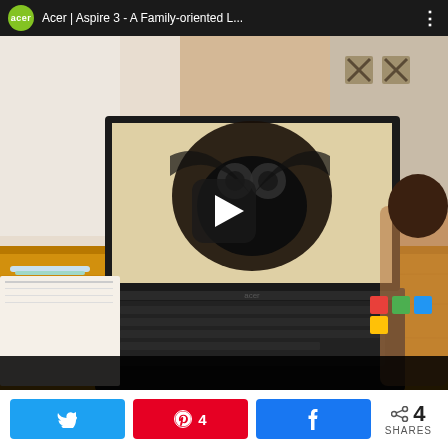[Figure (screenshot): YouTube-style video embed showing an Acer Aspire 3 laptop on a wooden table in a family setting. The video thumbnail shows a laptop with a digital art drawing on screen. A play button is overlaid in the center. The top bar shows the Acer logo (green circle), title 'Acer | Aspire 3 - A Family-oriented L...' and a three-dot menu. The bottom area is black.]
4 SHARES